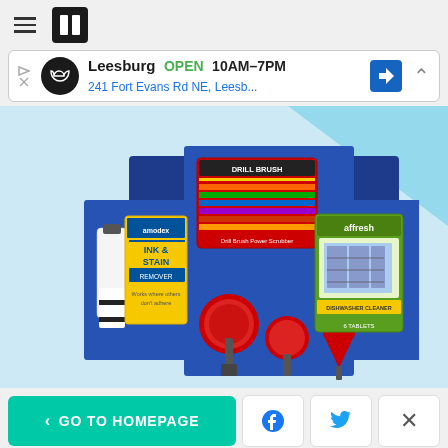Hamburger menu and HuffPost logo
Leesburg  OPEN  10AM–7PM  241 Fort Evans Rd NE, Leesb...
[Figure (photo): Product display showing Amodex Ink & Stain remover, Drill Brush red cleaning brush set in box, and Affresh dishwasher cleaner box on a blue background]
< GO TO HOMEPAGE